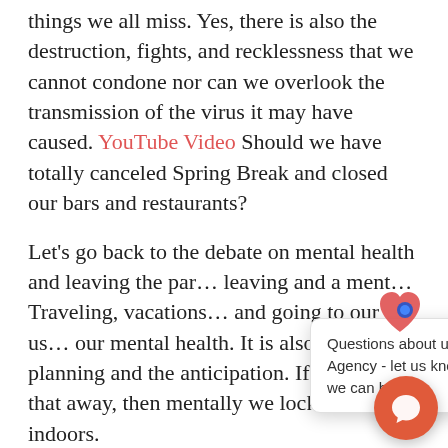things we all miss. Yes, there is also the destruction, fights, and recklessness that we cannot condone nor can we overlook the transmission of the virus it may have caused. YouTube Video Should we have totally canceled Spring Break and closed our bars and restaurants?
Let's go back to the debate on mental health and leaving the par… leaving and a ment… Traveling, vacations… and going to our us… our mental health. It is also about the planning and the anticipation. If we take that away, then mentally we lock ourselves indoors.
[Figure (screenshot): Chat popup overlay from ultraHealth Agency with close button (×) and text: 'Questions about ultraHealth Agency - let us know how we can help.' accompanied by a branded logo badge (red heart with blue dot) and an orange circular chat button at bottom right.]